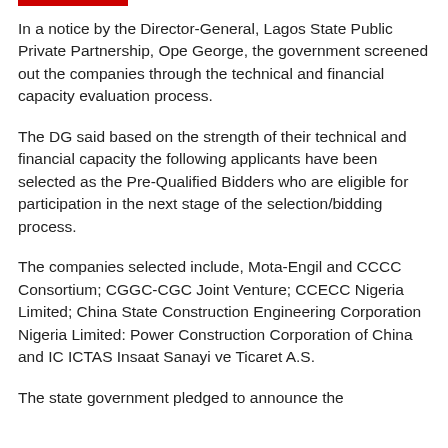In a notice by the Director-General, Lagos State Public Private Partnership, Ope George, the government screened out the companies through the technical and financial capacity evaluation process.
The DG said based on the strength of their technical and financial capacity the following applicants have been selected as the Pre-Qualified Bidders who are eligible for participation in the next stage of the selection/bidding process.
The companies selected include, Mota-Engil and CCCC Consortium; CGGC-CGC Joint Venture; CCECC Nigeria Limited; China State Construction Engineering Corporation Nigeria Limited: Power Construction Corporation of China and IC ICTAS Insaat Sanayi ve Ticaret A.S.
The state government pledged to announce the